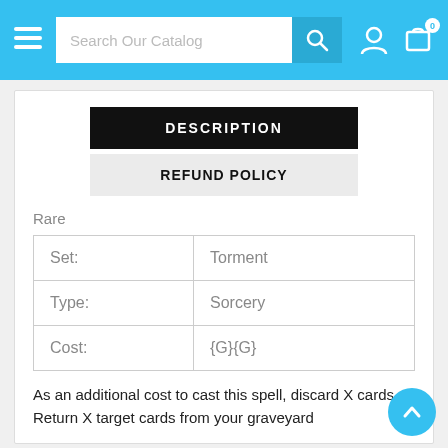Search Our Catalog
DESCRIPTION
REFUND POLICY
Rare
|  |  |
| --- | --- |
| Set: | Torment |
| Type: | Sorcery |
| Cost: | {G}{G} |
As an additional cost to cast this spell, discard X cards. Return X target cards from your graveyard